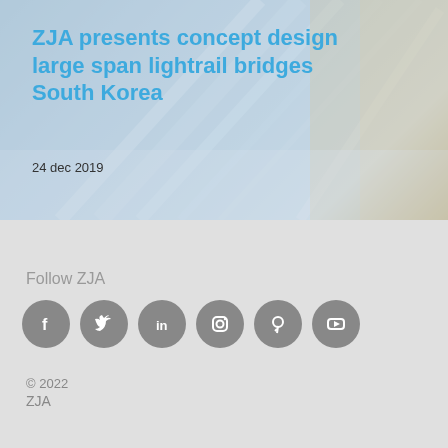[Figure (photo): Background image of bridge/architectural structure with blue and white tones]
ZJA presents concept design large span lightrail bridges South Korea
24 dec 2019
Follow ZJA
[Figure (infographic): Row of 6 social media icons: Facebook, Twitter, LinkedIn, Instagram, Pinterest, YouTube — all grey circular buttons]
© 2022
ZJA